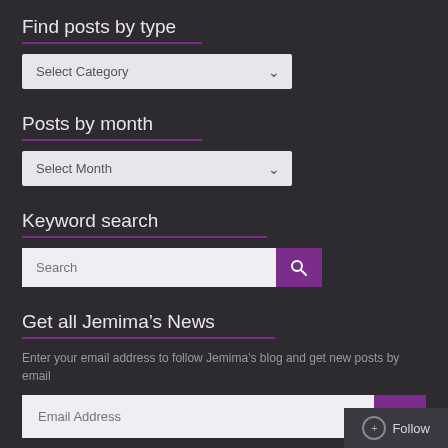Find posts by type
[Figure (screenshot): Dropdown select input with label 'Select Category' and a downward chevron arrow, on light gray background]
Posts by month
[Figure (screenshot): Dropdown select input with label 'Select Month' and a downward chevron arrow, on light gray background]
Keyword search
[Figure (screenshot): Search input field with placeholder 'Search' and a purple search button with magnifying glass icon]
Get all Jemima's News
Enter your email address to follow Jemima's blog and get new posts by email
[Figure (screenshot): Email address input field with placeholder 'Email Address' and a purple button with upward arrow]
Follow